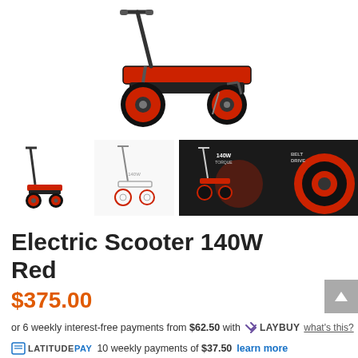[Figure (photo): Main product photo of a red and black Electric Scooter 140W viewed from the side, showing handlebars, deck, and wheels on white background.]
[Figure (photo): Thumbnail 1: Small side-view of the red/black electric scooter on white background.]
[Figure (photo): Thumbnail 2: Side profile line-drawing style view of the scooter.]
[Figure (photo): Thumbnail 3: Product info overlay showing 140W motor, close-up of handlebars on dark background.]
[Figure (photo): Thumbnail 4: Close-up of the red wheel/hub with 'Belt Drive' text on dark background.]
Electric Scooter 140W Red
$375.00
or 6 weekly interest-free payments from $62.50 with LAYBUY what's this?
LATITUDE PAY 10 weekly payments of $37.50 learn more